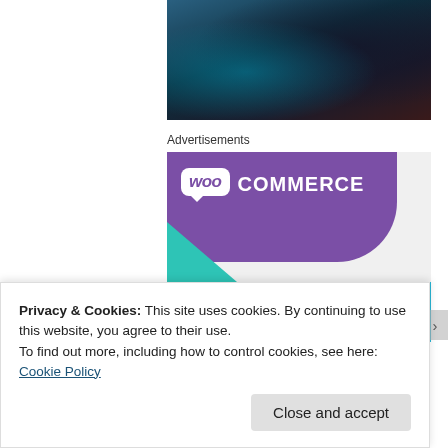[Figure (photo): Blurred dark photo of people in a studio or event setting with teal/blue lighting]
Advertisements
[Figure (illustration): WooCommerce advertisement banner with purple background, WooCommerce logo, teal triangle, teal arc, and text 'How to start selling']
Privacy & Cookies: This site uses cookies. By continuing to use this website, you agree to their use.
To find out more, including how to control cookies, see here: Cookie Policy
Close and accept